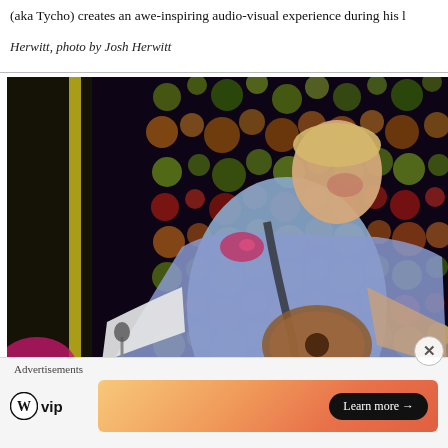(aka Tycho) creates an awe-inspiring audio-visual experience during his l
Herwitt, photo by Josh Herwitt
[Figure (photo): A male musician with short blond hair wearing a light blue t-shirt plays guitar on stage, smiling broadly. Behind him is a colorful bokeh backdrop with orange, green, red, and yellow circular lights. A guitar strap with floral embroidery is visible on his shoulder.]
Advertisements
[Figure (logo): WordPress VIP logo — WordPress W logo followed by 'vip' in bold text]
[Figure (infographic): Advertisement banner with orange gradient background and a 'Learn more →' button in black]